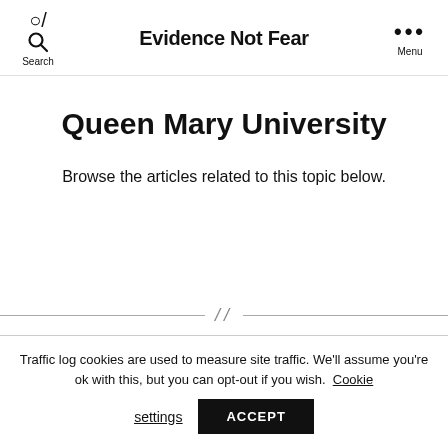Search  Evidence Not Fear  Menu
Queen Mary University
Browse the articles related to this topic below.
Traffic log cookies are used to measure site traffic. We'll assume you're ok with this, but you can opt-out if you wish. Cookie settings ACCEPT